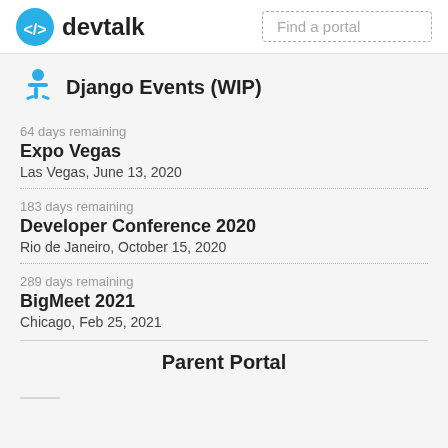devtalk | Find a portal
Django Events (WIP)
64 days remaining
Expo Vegas
Las Vegas, June 13, 2020
183 days remaining
Developer Conference 2020
Rio de Janeiro, October 15, 2020
289 days remaining
BigMeet 2021
Chicago, Feb 25, 2021
Parent Portal